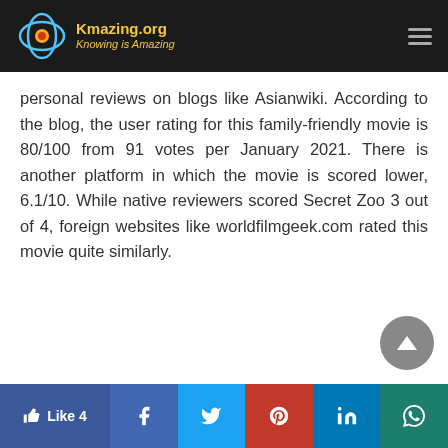Kmazing.org – Knowing is Amazing
personal reviews on blogs like Asianwiki. According to the blog, the user rating for this family-friendly movie is 80/100 from 91 votes per January 2021. There is another platform in which the movie is scored lower, 6.1/10. While native reviewers scored Secret Zoo 3 out of 4, foreign websites like worldfilmgeek.com rated this movie quite similarly.
Like 4 | Facebook | Twitter | Pinterest | LinkedIn | WhatsApp